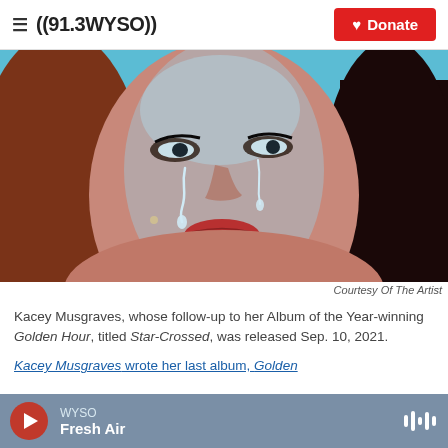((91.3WYSO)) Donate
[Figure (photo): Close-up portrait of Kacey Musgraves with tears running down her face, lit with a blue/teal light, long dark hair, looking upward. Used as album cover art for Star-Crossed.]
Courtesy Of The Artist
Kacey Musgraves, whose follow-up to her Album of the Year-winning Golden Hour, titled Star-Crossed, was released Sep. 10, 2021.
Kacey Musgraves wrote her last album, Golden
WYSO Fresh Air